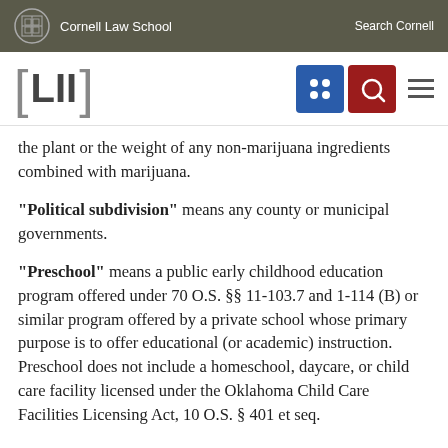Cornell Law School | Search Cornell
[Figure (logo): LII Legal Information Institute logo with navigation buttons]
the plant or the weight of any non-marijuana ingredients combined with marijuana.
"Political subdivision" means any county or municipal governments.
"Preschool" means a public early childhood education program offered under 70 O.S. §§ 11-103.7 and 1-114 (B) or similar program offered by a private school whose primary purpose is to offer educational (or academic) instruction. Preschool does not include a homeschool, daycare, or child care facility licensed under the Oklahoma Child Care Facilities Licensing Act, 10 O.S. § 401 et seq.